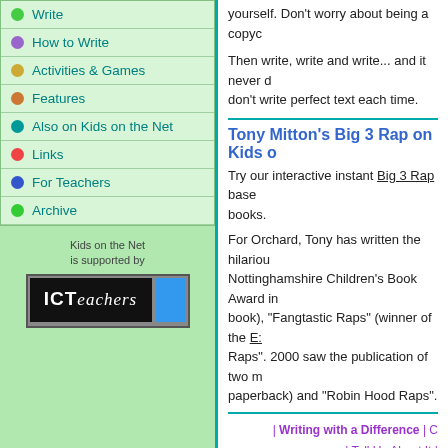Write
How to Write
Activities & Games
Features
Also on Kids on the Net
Links
For Teachers
Archive
[Figure (logo): ICTeachers logo - black background with white bold text ICT and italic text eachers, blue bar on right]
Kids on the Net is supported by
yourself. Don't worry about being a copyc
Then write, write and write... and it never d don't write perfect text each time.
Tony Mitton's Big 3 Rap on Kids o
Try our interactive instant Big 3 Rap base books.
For Orchard, Tony has written the hilariou Nottinghamshire Children's Book Award in book), "Fangtastic Raps" (winner of the E: Raps". 2000 saw the publication of two m paperback) and "Robin Hood Raps".
| Writing with a Difference | C | Tell Us About It | | Kids' Castle | Mo | What's New? | Competitions | Abo
©2003-2006 Kids on the Net and t Kid
Re